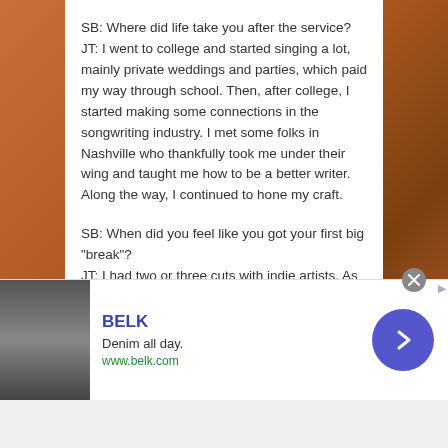SB: Where did life take you after the service?
JT: I went to college and started singing a lot, mainly private weddings and parties, which paid my way through school. Then, after college, I started making some connections in the songwriting industry. I met some folks in Nashville who thankfully took me under their wing and taught me how to be a better writer. Along the way, I continued to hone my craft.
SB: When did you feel like you got your first big "break"?
JT: I had two or three cuts with indie artists. As a non-signed songwriter you really have to cut your teeth with not-so-well-known artists. Then about five years ago I
[Figure (other): Advertisement banner for BELK featuring denim clothing. Shows brand name BELK in blue, tagline 'Denim all day.' and URL www.belk.com with a navigation arrow button.]